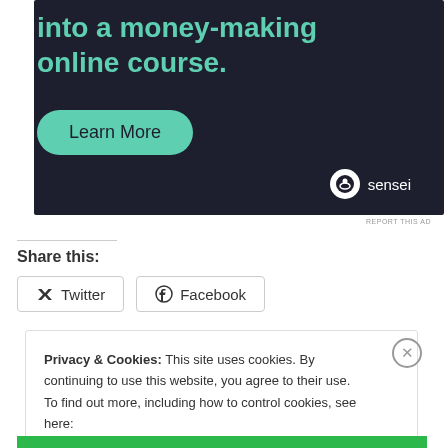[Figure (illustration): Dark navy advertisement banner for Sensei online course platform with teal headline text 'into a money-making online course.' and a teal 'Learn More' pill button, with Sensei logo at bottom right]
REPORT THIS AD
Share this:
Twitter
Facebook
Privacy & Cookies: This site uses cookies. By continuing to use this website, you agree to their use.
To find out more, including how to control cookies, see here:
Cookie Policy
Close and accept